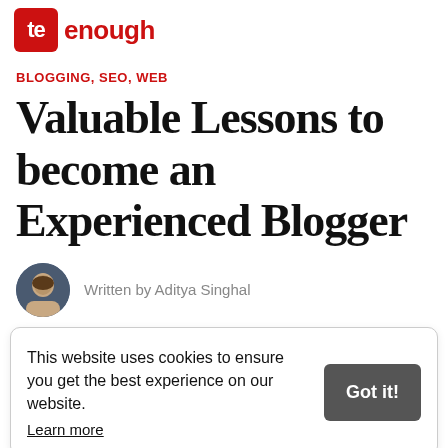Truly Enough (logo)
BLOGGING, SEO, WEB
Valuable Lessons to become an Experienced Blogger
Written by Aditya Singhal
This website uses cookies to ensure you get the best experience on our website. Learn more